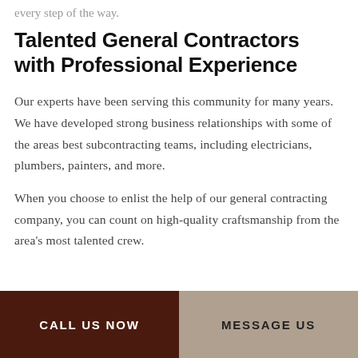every step of the way.
Talented General Contractors with Professional Experience
Our experts have been serving this community for many years. We have developed strong business relationships with some of the areas best subcontracting teams, including electricians, plumbers, painters, and more.
When you choose to enlist the help of our general contracting company, you can count on high-quality craftsmanship from the area's most talented crew.
CALL US NOW   MESSAGE US